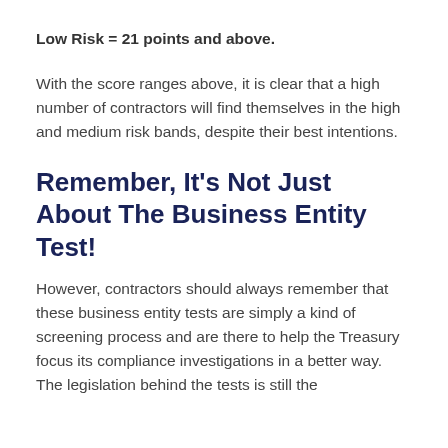Low Risk = 21 points and above.
With the score ranges above, it is clear that a high number of contractors will find themselves in the high and medium risk bands, despite their best intentions.
Remember, It's Not Just About The Business Entity Test!
However, contractors should always remember that these business entity tests are simply a kind of screening process and are there to help the Treasury focus its compliance investigations in a better way. The legislation behind the tests is still the